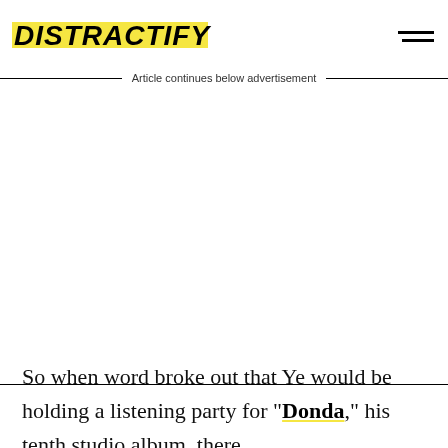DISTRACTIFY
Article continues below advertisement
So when word broke out that Ye would be holding a listening party for "Donda," his tenth studio album, there